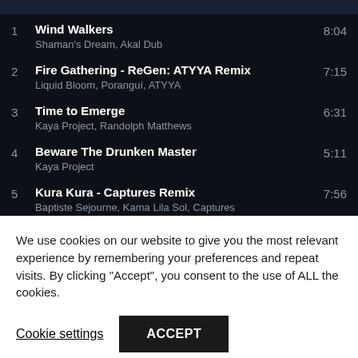1  Wind Walkers  8:04
Shaman's Dream, Akal Dub
2  Fire Gathering - ReGen: ATYYA Remix  7:15
Liquid Bloom, Poranguí, ATYYA
3  Time to Emerge  6:31
Kaya Project, Randolph Matthews
4  Beware The Drunken Master  5:11
Kaya Project
5  Kura Kura - Captures Remix  7:56
Baptiste Sejourne, Kama Lila Sol, Captures
6  Tiden Inne  8:07
We use cookies on our website to give you the most relevant experience by remembering your preferences and repeat visits. By clicking “Accept”, you consent to the use of ALL the cookies.
Cookie settings  ACCEPT